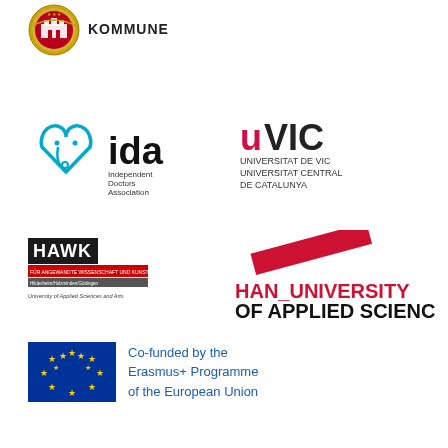[Figure (logo): Municipality/kommune circular seal logo with text KOMMUNE]
[Figure (logo): IDA Independent Doctors Association logo with blue heart stethoscope icon]
[Figure (logo): UVIC Universitat de Vic Universitat Central de Catalunya logo]
[Figure (logo): HAWK Hochschule für angewandte Wissenschaft und Kunst University of Applied Sciences and Arts logo]
[Figure (logo): HAN University of Applied Sciences logo with red diagonal stripe]
[Figure (logo): European Union flag logo with text Co-funded by the Erasmus+ Programme of the European Union]